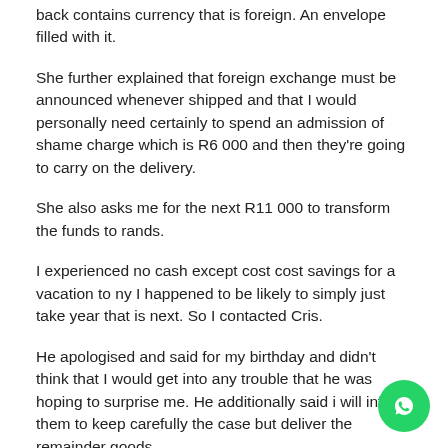back contains currency that is foreign. An envelope filled with it.
She further explained that foreign exchange must be announced whenever shipped and that I would personally need certainly to spend an admission of shame charge which is R6 000 and then they're going to carry on the delivery.
She also asks me for the next R11 000 to transform the funds to rands.
I experienced no cash except cost cost savings for a vacation to ny I happened to be likely to simply just take year that is next. So I contacted Cris.
He apologised and said for my birthday and didn't think that I would get into any trouble that he was hoping to surprise me. He additionally said i will inform them to keep carefully the case but deliver the remainder goods.
After more interaction with all the woman she settled when it comes